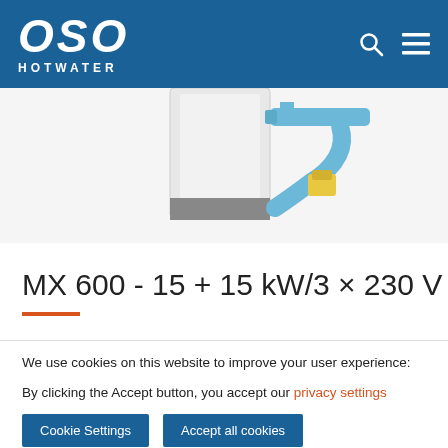OSO HOTWATER
[Figure (illustration): Partial view of a hot water boiler/cylinder product with blue pipe fitting and yellow connector component, shown on a white/grey background]
MX 600 - 15 + 15 kW/3 × 230 V
We use cookies on this website to improve your user experience:
By clicking the Accept button, you accept our privacy settings
Cookie Settings
Accept all cookies